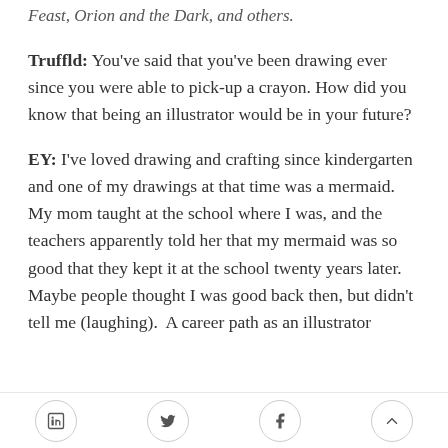Feast, Orion and the Dark, and others.
Truffld: You've said that you've been drawing ever since you were able to pick-up a crayon. How did you know that being an illustrator would be in your future?
EY: I've loved drawing and crafting since kindergarten and one of my drawings at that time was a mermaid. My mom taught at the school where I was, and the teachers apparently told her that my mermaid was so good that they kept it at the school twenty years later. Maybe people thought I was good back then, but didn't tell me (laughing).  A career path as an illustrator
LinkedIn Twitter Facebook Scroll-up